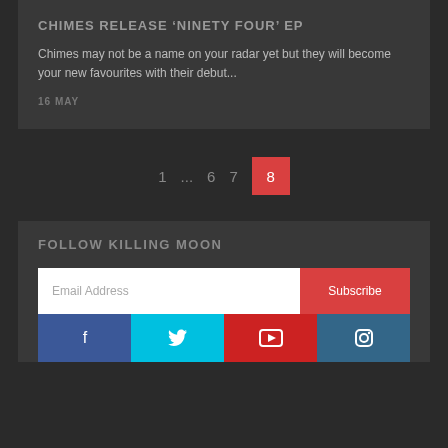CHIMES RELEASE 'NINETY FOUR' EP
Chimes may not be a name on your radar yet but they will become your new favourites with their debut...
16 MAY
1 ... 6 7 8
FOLLOW KILLING MOON
Email Address
Subscribe
[Figure (other): Social media icon buttons: Facebook, Twitter, YouTube, Instagram]